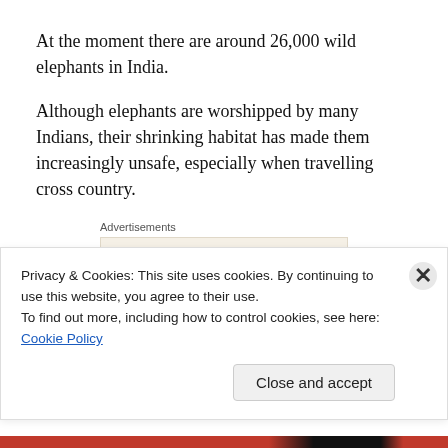At the moment there are around 26,000 wild elephants in India.
Although elephants are worshipped by many Indians, their shrinking habitat has made them increasingly unsafe, especially when travelling cross country.
[Figure (other): Advertisement box with text 'Professionally designed sites in less than a week' and WordPress logo on beige background, labeled 'Advertisements']
The state of Orissa in eastern India last year issued a
Privacy & Cookies: This site uses cookies. By continuing to use this website, you agree to their use.
To find out more, including how to control cookies, see here: Cookie Policy